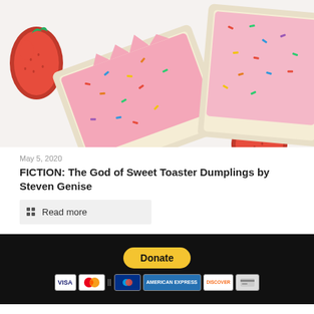[Figure (photo): Strawberry frosted Pop-Tarts with colorful sprinkles on a white background, with fresh strawberries beside them]
May 5, 2020
FICTION: The God of Sweet Toaster Dumplings by Steven Genise
Read more
[Figure (other): Donate button (PayPal yellow) and payment method icons: VISA, Mastercard, PayPal, American Express, Discover, and another card]